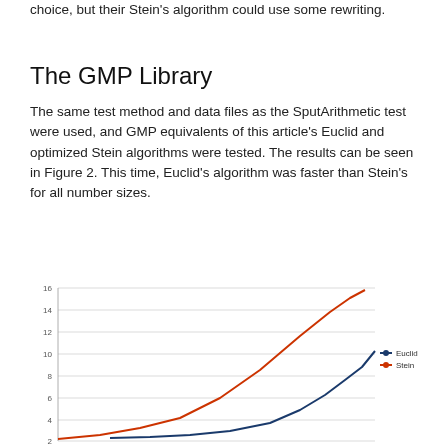choice, but their Stein's algorithm could use some rewriting.
The GMP Library
The same test method and data files as the SputArithmetic test were used, and GMP equivalents of this article's Euclid and optimized Stein algorithms were tested. The results can be seen in Figure 2. This time, Euclid's algorithm was faster than Stein's for all number sizes.
[Figure (line-chart): Line chart showing Euclid and Stein algorithm performance curves. Y-axis ranges from 2 to 16. Both curves rise from lower left, with Stein rising more steeply to ~16 and Euclid rising to ~11 at the right edge.]